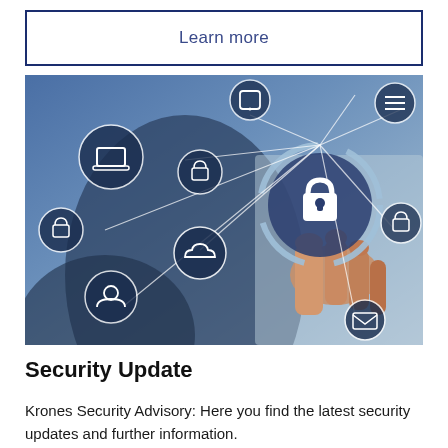Learn more
[Figure (photo): A person pressing a digital security lock icon connected to network nodes including laptop, cloud, user, padlock, and other cybersecurity icons on a blue-toned background.]
Security Update
Krones Security Advisory: Here you find the latest security updates and further information.